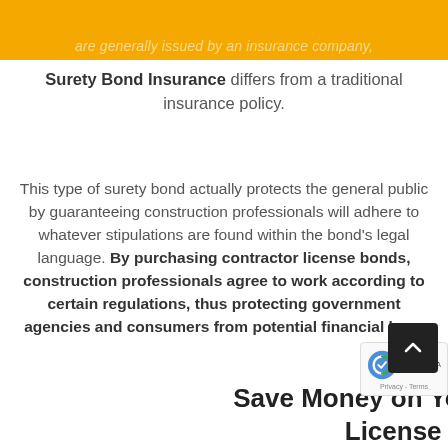are generally issued by an insurance company,
Surety Bond Insurance differs from a traditional insurance policy.
This type of surety bond actually protects the general public by guaranteeing construction professionals will adhere to whatever stipulations are found within the bond's legal language. By purchasing contractor license bonds, construction professionals agree to work according to certain regulations, thus protecting government agencies and consumers from potential financial loss.
Save Money on Your Contractor License Bond